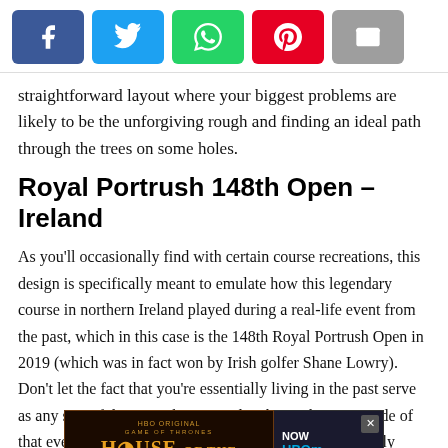[Figure (other): Social sharing buttons: Facebook (blue), Twitter (light blue), WhatsApp (green), Pinterest (red), Email (grey)]
straightforward layout where your biggest problems are likely to be the unforgiving rough and finding an ideal path through the trees on some holes.
Royal Portrush 148th Open – Ireland
As you'll occasionally find with certain course recreations, this design is specifically meant to emulate how this legendary course in northern Ireland played during a real-life event from the past, which in this case is the 148th Royal Portrush Open in 2019 (which was in fact won by Irish golfer Shane Lowry). Don't let the fact that you're essentially living in the past serve as any sort of deterrent, but instead embrace the magnitude of that event and see if it can't make you rise to the... ultimately cause you som... re to take
[Figure (other): Advertisement overlay: House of the Dragon HBO Original ad on left (dark background, orange text), HBO Max 'Now Streaming Plans' ad on right with close button X]